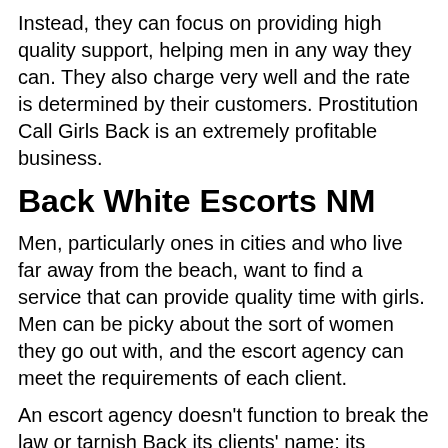Instead, they can focus on providing high quality support, helping men in any way they can. They also charge very well and the rate is determined by their customers. Prostitution Call Girls Back is an extremely profitable business.
Back White Escorts NM
Men, particularly ones in cities and who live far away from the beach, want to find a service that can provide quality time with girls. Men can be picky about the sort of women they go out with, and the escort agency can meet the requirements of each client.
An escort agency doesn't function to break the law or tarnish Back its clients' name; its objective is to supply customers with quality women that are up to professional standards. This is why it offers flexible rates for couples and individuals.